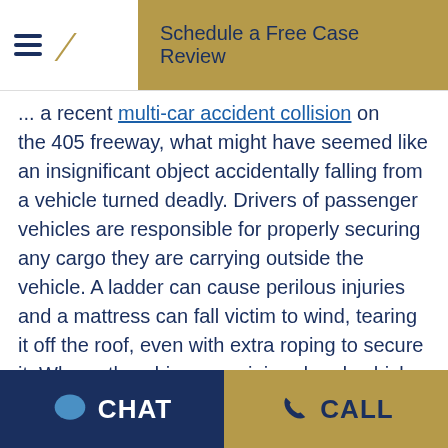Schedule a Free Case Review
... a recent multi-car accident collision on the 405 freeway, what might have seemed like an insignificant object accidentally falling from a vehicle turned deadly. Drivers of passenger vehicles are responsible for properly securing any cargo they are carrying outside the vehicle. A ladder can cause perilous injuries and a mattress can fall victim to wind, tearing it off the roof, even with extra roping to secure it. When other drivers are injured and vehicles are damaged due to unsecured cargo, that
CHAT   CALL